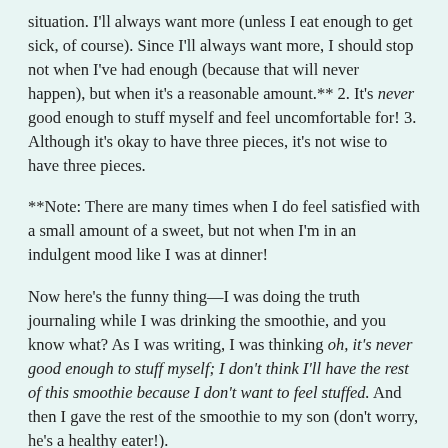situation. I'll always want more (unless I eat enough to get sick, of course). Since I'll always want more, I should stop not when I've had enough (because that will never happen), but when it's a reasonable amount.** 2. It's never good enough to stuff myself and feel uncomfortable for! 3. Although it's okay to have three pieces, it's not wise to have three pieces.
**Note: There are many times when I do feel satisfied with a small amount of a sweet, but not when I'm in an indulgent mood like I was at dinner!
Now here's the funny thing—I was doing the truth journaling while I was drinking the smoothie, and you know what? As I was writing, I was thinking oh, it's never good enough to stuff myself; I don't think I'll have the rest of this smoothie because I don't want to feel stuffed. And then I gave the rest of the smoothie to my son (don't worry, he's a healthy eater!).
I am now ready to go to bed, and I'm not worrying about breaking my boundaries tomorrow. There's still cinnamon bread in the house, and I don't even want a piece. God has used the truth to take away my wrong desires and replace them with holy desires. It was